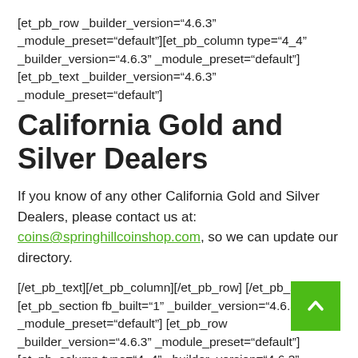[et_pb_row _builder_version="4.6.3" _module_preset="default"][et_pb_column type="4_4" _builder_version="4.6.3" _module_preset="default"][et_pb_text _builder_version="4.6.3" _module_preset="default"]
California Gold and Silver Dealers
If you know of any other California Gold and Silver Dealers, please contact us at: coins@springhillcoinshop.com, so we can update our directory.
[/et_pb_text][/et_pb_column][/et_pb_row] [/et_pb_section][et_pb_section fb_built="1" _builder_version="4.6.3" _module_preset="default"] [et_pb_row _builder_version="4.6.3" _module_preset="default"][et_pb_column type="4_4" _builder_version="4.6.3"